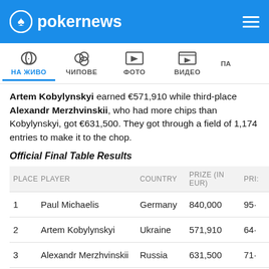pokernews
Artem Kobylynskyi earned €571,910 while third-place Alexandr Merzhvinskii, who had more chips than Kobylynskyi, got €631,500. They got through a field of 1,174 entries to make it to the chop.
Official Final Table Results
| PLACE | PLAYER | COUNTRY | PRIZE (IN EUR) | PRI: |
| --- | --- | --- | --- | --- |
| 1 | Paul Michaelis | Germany | 840,000 | 95· |
| 2 | Artem Kobylynskyi | Ukraine | 571,910 | 64· |
| 3 | Alexandr Merzhvinskii | Russia | 631,500 | 71· |
| 4 | Laurynas Levinskas | Lithuania | 316,000 | 35· |